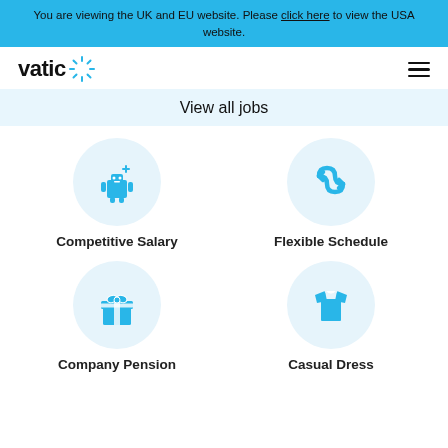You are viewing the UK and EU website. Please click here to view the USA website.
[Figure (logo): Vatic logo with starburst icon]
View all jobs
[Figure (illustration): Blue robot/character icon in light blue circle - Competitive Salary]
Competitive Salary
[Figure (illustration): Blue curved arrows icon in light blue circle - Flexible Schedule]
Flexible Schedule
[Figure (illustration): Blue gift box icon in light blue circle - Company Pension]
Company Pension
[Figure (illustration): Blue t-shirt icon in light blue circle - Casual Dress]
Casual Dress